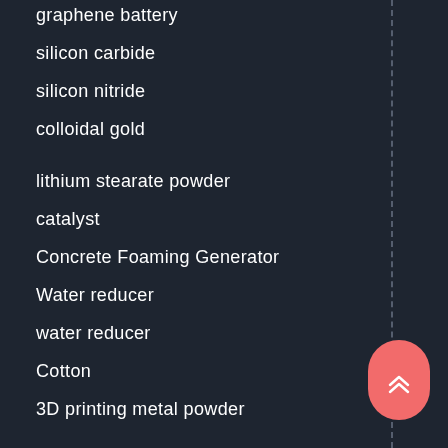graphene battery
silicon carbide
silicon nitride
colloidal gold
lithium stearate powder
catalyst
Concrete Foaming Generator
Water reducer
water reducer
Cotton
3D printing metal powder
Spherical Tungsten Powder